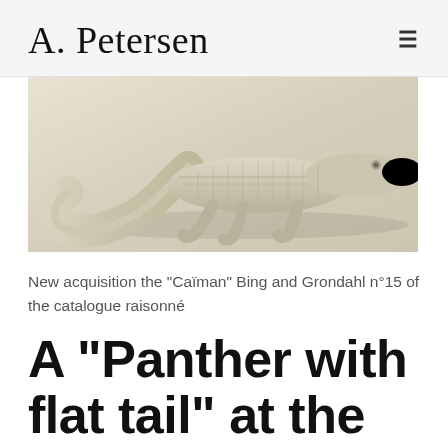A. Petersen
[Figure (photo): A white/cream ceramic crocodile/caiman figurine lying flat, photographed against a white background. The sculpture shows detailed scale texture on the body and tail.]
New acquisition the "Caïman" Bing and Grondahl n°15 of the catalogue raisonné
A "Panther with flat tail" at the exhibition of